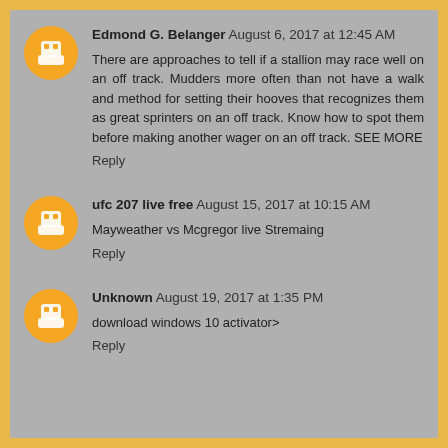Edmond G. Belanger August 6, 2017 at 12:45 AM
There are approaches to tell if a stallion may race well on an off track. Mudders more often than not have a walk and method for setting their hooves that recognizes them as great sprinters on an off track. Know how to spot them before making another wager on an off track. SEE MORE
Reply
ufc 207 live free August 15, 2017 at 10:15 AM
Mayweather vs Mcgregor live Stremaing
Reply
Unknown August 19, 2017 at 1:35 PM
download windows 10 activator>
Reply